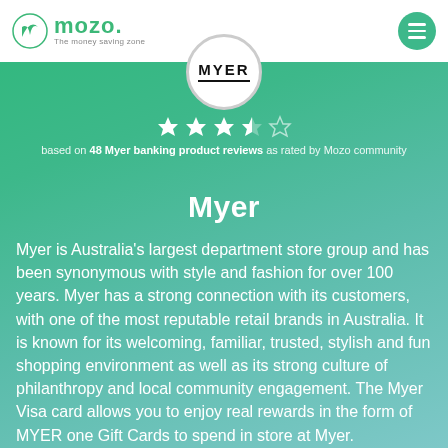mozo - The money saving zone
[Figure (logo): Myer logo in white circle: bold MYER text with underline]
based on 48 Myer banking product reviews as rated by Mozo community
Myer
Myer is Australia's largest department store group and has been synonymous with style and fashion for over 100 years. Myer has a strong connection with its customers, with one of the most reputable retail brands in Australia. It is known for its welcoming, familiar, trusted, stylish and fun shopping environment as well as its strong culture of philanthropy and local community engagement. The Myer Visa card allows you to enjoy real rewards in the form of MYER one Gift Cards to spend in store at Myer.